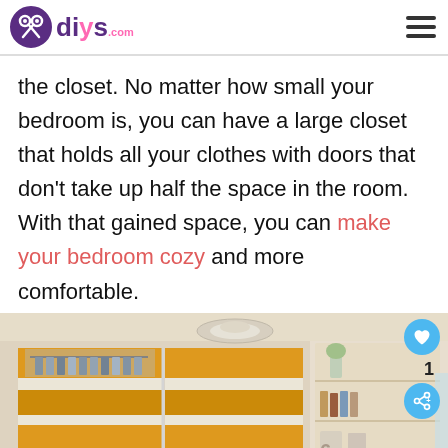diys.com
the closet. No matter how small your bedroom is, you can have a large closet that holds all your clothes with doors that don't take up half the space in the room. With that gained space, you can make your bedroom cozy and more comfortable.
[Figure (photo): Interior photo of a modern bedroom with a large sliding door closet featuring yellow and white horizontal stripe panels, hanging clothes visible inside, built-in shelving unit on the right with decorative items and books, and a desk with a monitor partially visible. Ceiling has a circular LED light fixture.]